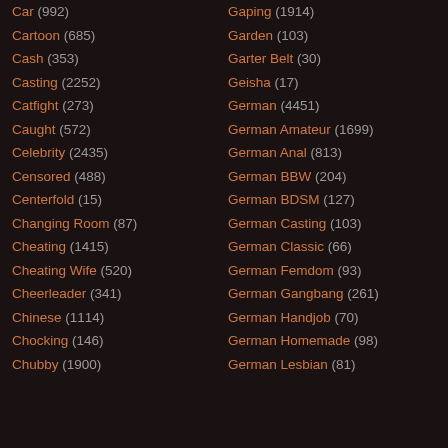Car (992)
Cartoon (685)
Cash (353)
Casting (2252)
Catfight (273)
Caught (572)
Celebrity (2435)
Censored (488)
Centerfold (15)
Changing Room (87)
Cheating (1415)
Cheating Wife (520)
Cheerleader (341)
Chinese (1114)
Chocking (146)
Chubby (1900)
Gaping (1914)
Garden (103)
Garter Belt (30)
Geisha (17)
German (4451)
German Amateur (1699)
German Anal (813)
German BBW (204)
German BDSM (127)
German Casting (103)
German Classic (66)
German Femdom (93)
German Gangbang (261)
German Handjob (70)
German Homemade (98)
German Lesbian (81)